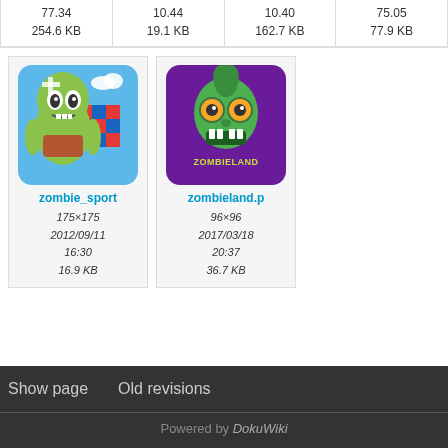| 77.34 | 10.44 | 10.40 | 75.05 |
| 254.6 KB | 19.1 KB | 162.7 KB | 77.9 KB |
[Figure (illustration): Thumbnail of zombie_sport image: cartoon zombie holding a device with a colorful grid background]
zombie_sport
175×175
2012/09/11 16:30
16.9 KB
[Figure (illustration): Thumbnail of zombieland.p image: green zombie skull on purple background with 'ZOMBIELAND' text]
zombieland.p
96×96
2017/03/18 20:37
36.7 KB
Show page   Old revisions   Powered by DokuWiki